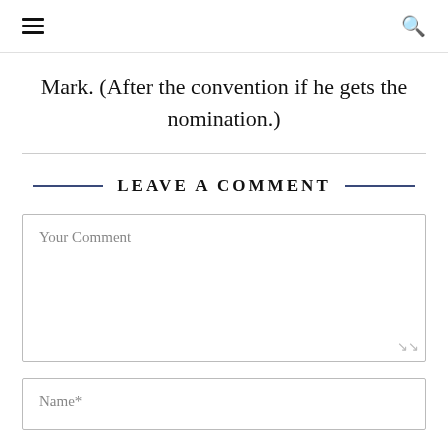[hamburger menu icon] [search icon]
Mark. (After the convention if he gets the nomination.)
LEAVE A COMMENT
Your Comment
Name*